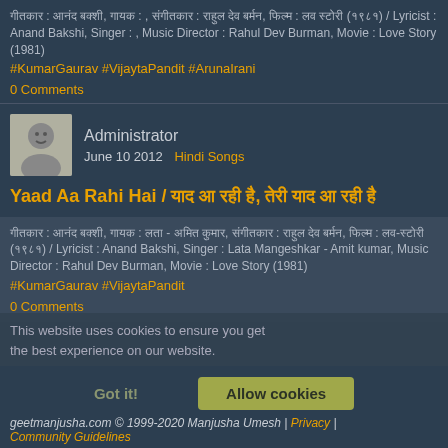गीतकार : आनंद बक्शी, गायक : , संगीतकार : राहुल देव बर्मन, फिल्म : लव स्टोरी (१९८१) / Lyricist : Anand Bakshi, Singer : , Music Director : Rahul Dev Burman, Movie : Love Story (1981)
#KumarGaurav #VijaytaPandit #ArunaIrani
0 Comments
Administrator
June 10 2012   Hindi Songs
Yaad Aa Rahi Hai / याद आ रही है, तेरी याद आ रही है
गीतकार : आनंद बक्शी, गायक : लता - अमित कुमार, संगीतकार : राहुल देव बर्मन, फिल्म : लव-स्टोरी (१९८१) / Lyricist : Anand Bakshi, Singer : Lata Mangeshkar - Amit kumar, Music Director : Rahul Dev Burman, Movie : Love Story (1981)
#KumarGaurav #VijaytaPandit
0 Comments
This website uses cookies to ensure you get the best experience on our website.
Got it!    Allow cookies
geetmanjusha.com © 1999-2020 Manjusha Umesh | Privacy | Community Guidelines